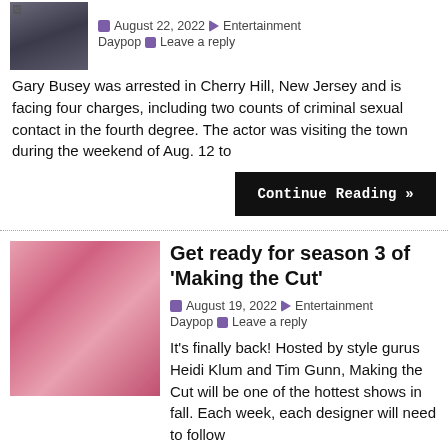[Figure (photo): Small thumbnail image of a person, partially visible, dark tones]
August 22, 2022 Entertainment Daypop Leave a reply
Gary Busey was arrested in Cherry Hill, New Jersey and is facing four charges, including two counts of criminal sexual contact in the fourth degree. The actor was visiting the town during the weekend of Aug. 12 to
Continue Reading »
Get ready for season 3 of 'Making the Cut'
[Figure (photo): Photo of Heidi Klum smiling with long blonde hair against a pink/red background]
August 19, 2022 Entertainment Daypop Leave a reply
It's finally back! Hosted by style gurus Heidi Klum and Tim Gunn, Making the Cut will be one of the hottest shows in fall. Each week, each designer will need to follow a different theme of clothing